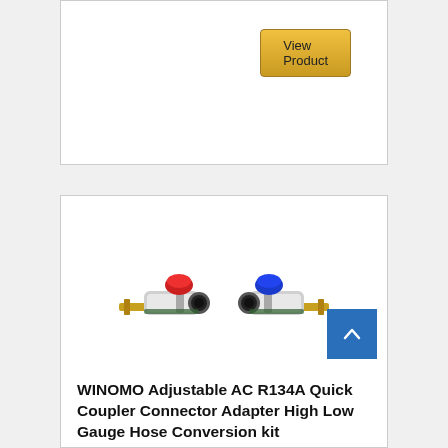View Product
[Figure (photo): Two AC R134A quick coupler connectors, one with a red cap and one with a blue cap, both chrome/brass bodied, shown side by side]
WINOMO Adjustable AC R134A Quick Coupler Connector Adapter High Low Gauge Hose Conversion kit